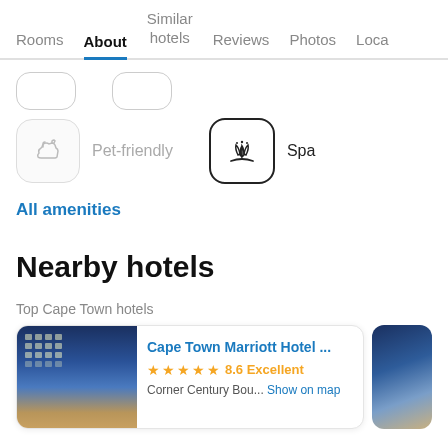Rooms | About | Similar hotels | Reviews | Photos | Loca...
[Figure (screenshot): Partially visible amenity icon boxes at top of page]
[Figure (illustration): Pet-friendly amenity icon with dog silhouette (faded/inactive)]
Pet-friendly
[Figure (illustration): Spa amenity icon with lotus flower (active/dark border)]
Spa
All amenities
Nearby hotels
Top Cape Town hotels
Cape Town Marriott Hotel ...
★ ★ ★ ★ ★ 8.6 Excellent
Corner Century Bou... Show on map